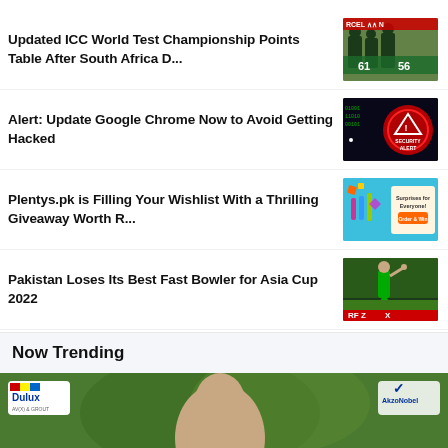Updated ICC World Test Championship Points Table After South Africa D...
[Figure (photo): Cricket players on field with jersey numbers 61 and 56, sponsor banners visible]
Alert: Update Google Chrome Now to Avoid Getting Hacked
[Figure (photo): Dark background with red circular security alert graphic and text 'SECURITY ALERT']
Plentys.pk is Filling Your Wishlist With a Thrilling Giveaway Worth R...
[Figure (photo): Colorful giveaway promotional image with text 'Surprises for Everyone! Order & Win']
Pakistan Loses Its Best Fast Bowler for Asia Cup 2022
[Figure (photo): Cricket fast bowler in green Pakistan jersey with 'RF ZAX' advertising board]
Now Trending
[Figure (photo): Advertisement banner with Dulux and AkzoNobel logos, man with green background]